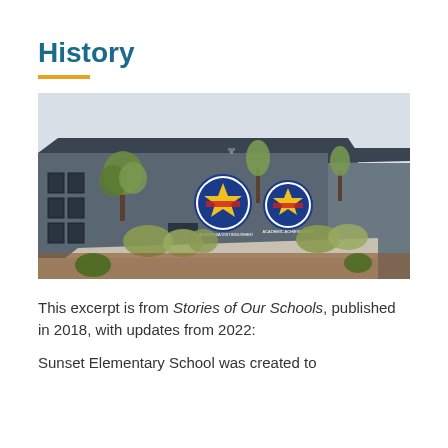History
[Figure (photo): Exterior photograph of Sunset Elementary School building, a modern low-rise structure with dark grey/blue walls, displaying two circular school logos on the exterior wall. Landscaping includes ornamental grasses, small trees, and mulched garden beds in the foreground.]
This excerpt is from Stories of Our Schools, published in 2018, with updates from 2022:
Sunset Elementary School was created to